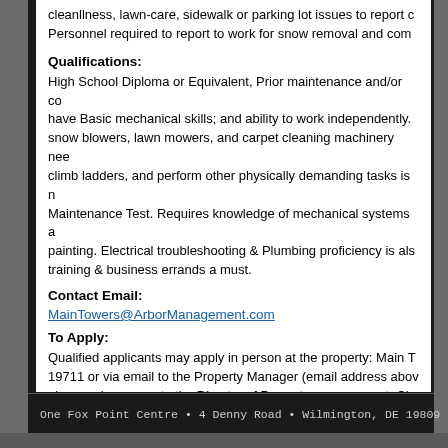cleanllness, lawn-care, sidewalk or parking lot issues to report c Personnel required to report to work for snow removal and com
Qualifications:
High School Diploma or Equivalent, Prior maintenance and/or co have Basic mechanical skills; and ability to work independently. snow blowers, lawn mowers, and carpet cleaning machinery nee climb ladders, and perform other physically demanding tasks is n Maintenance Test. Requires knowledge of mechanical systems a painting. Electrical troubleshooting & Plumbing proficiency is als training & business errands a must.
Contact Email:
MainTowers@ArborManagement.com
To Apply:
Qualified applicants may apply in person at the property: Main T 19711 or via email to the Property Manager (email address abov also send resumes to the Director of Property management, Chr chorner@Arbormanagement.com and/or the Vice President of H employment@arbormanagement.com. NON-SMOKING ENVIRO Opportunity Employer that promotes the hiring of veterans and c
One Fox Point Centre • 4 Denny Road • Wilmington, DE 19809 • Phone: 302.